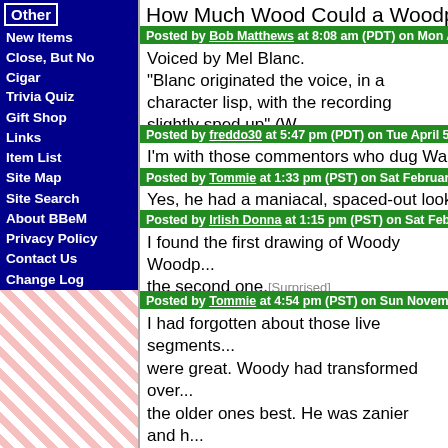How Much Wood Could a Woodpecker P...
Other
New Items
Close, But No Cigar
Trivia Quiz
Gift Shop
Links
Item List
Site Map
Site Search
About BBeM
Privacy Policy
Contact Us
Change Log
Posted by Bob Matthews at 8:08 am (PDT) on Mon Ap...
Voiced by Mel Blanc. "Blanc originated the voice, in a character lisp, with the recording slightly sped up" (W...
Posted by freddo30 at 5:47 pm (PDT) on Tue April 5, 2...
I'm with those commentors who dug Walt...
Posted by Tommie at 1:33 pm (PST) on Sat February 8...
Yes, he had a maniacal, spaced-out look...
Posted by Irlish Donna at 1:15 pm (PST) on Sat Februa...
I found the first drawing of Woody Woodp... the second one. Surprised
Posted by Tommie at 4:54 pm (PST) on Sun Novembe...
I had forgotten about those live segments... were great. Woody had transformed over... the older ones best. He was zanier and h... Rabbit.